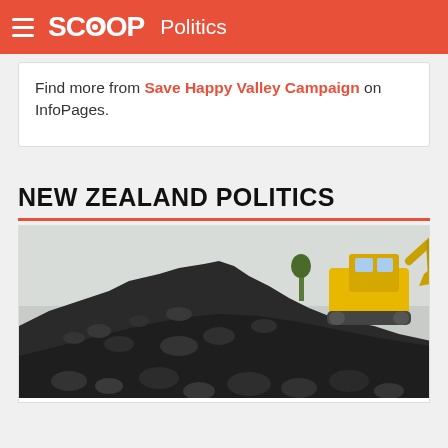SCOOP Politics
Find more from Save Happy Valley Campaign on InfoPages.
NEW ZEALAND POLITICS
[Figure (photo): A large pile of black coal with a yellow backhoe/excavator machine visible in the upper right, operating on the coal heap. Sky visible in background.]